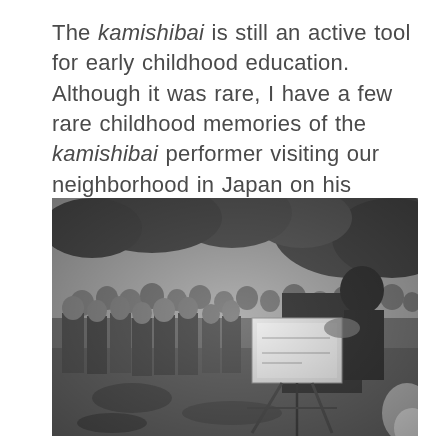The kamishibai is still an active tool for early childhood education. Although it was rare, I have a few rare childhood memories of the kamishibai performer visiting our neighborhood in Japan on his bicycle to tell his stories.
[Figure (photo): A black and white historical photograph showing a kamishibai street performer presenting illustrated story cards on a stand to a crowd of children gathered around him outdoors.]